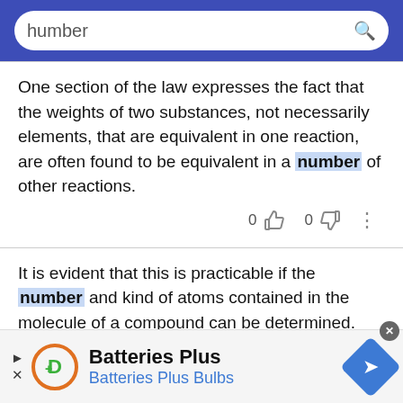[Figure (screenshot): Blue search bar with rounded white input field containing cursor and text 'humber' and a search icon]
One section of the law expresses the fact that the weights of two substances, not necessarily elements, that are equivalent in one reaction, are often found to be equivalent in a number of other reactions.
It is evident that this is practicable if the number and kind of atoms contained in the molecule of a compound can be determined.
[Figure (screenshot): Advertisement for Batteries Plus / Batteries Plus Bulbs with logo and navigation arrow]